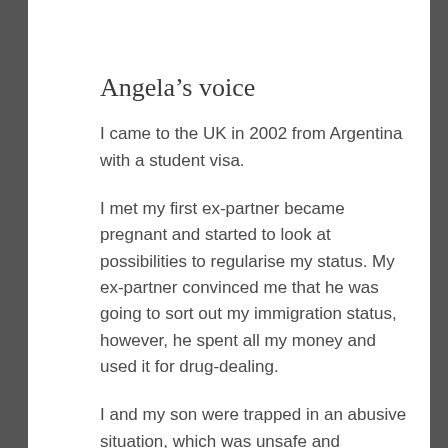Angela's voice
I came to the UK in 2002 from Argentina with a student visa.
I met my first ex-partner became pregnant and started to look at possibilities to regularise my status. My ex-partner convinced me that he was going to sort out my immigration status, however, he spent all my money and used it for drug-dealing.
I and my son were trapped in an abusive situation, which was unsafe and terrifying.
I fled and became destitute and started to do sex work and earn an income.